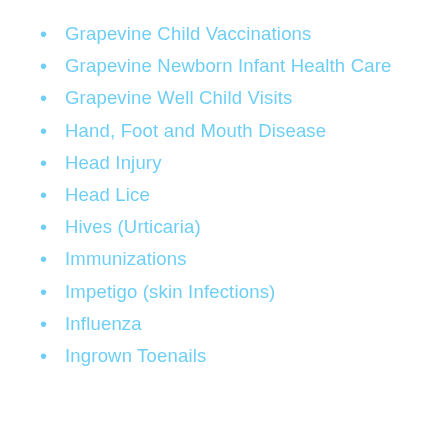Grapevine Child Vaccinations
Grapevine Newborn Infant Health Care
Grapevine Well Child Visits
Hand, Foot and Mouth Disease
Head Injury
Head Lice
Hives (Urticaria)
Immunizations
Impetigo (skin Infections)
Influenza
Ingrown Toenails